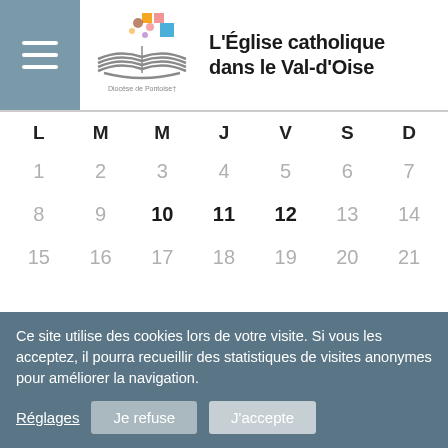L'Église catholique dans le Val-d'Oise — Diocèse de Pontoise
| L | M | M | J | V | S | D |
| --- | --- | --- | --- | --- | --- | --- |
| 1 | 2 | 3 | 4 | 5 | 6 | 7 |
| 8 | 9 | 10 | 11 | 12 | 13 | 14 |
| 15 | 16 | 17 | 18 | 19 | 20 | 21 |
Ce site utilise des cookies lors de votre visite. Si vous les acceptez, il pourra recueillir des statistiques de visites anonymes pour améliorer la navigation.
Réglages
Je refuse
J'accepte